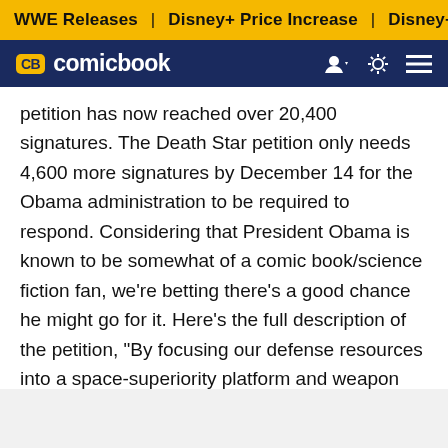WWE Releases | Disney+ Price Increase | Disney+ Price Incre
CB comicbook
petition has now reached over 20,400 signatures. The Death Star petition only needs 4,600 more signatures by December 14 for the Obama administration to be required to respond. Considering that President Obama is known to be somewhat of a comic book/science fiction fan, we're betting there's a good chance he might go for it. Here's the full description of the petition, "By focusing our defense resources into a space-superiority platform and weapon system such as a Death Star, the government can spur job creation in the fields of construction, engineering, space exploration, and more, and strengthen our national